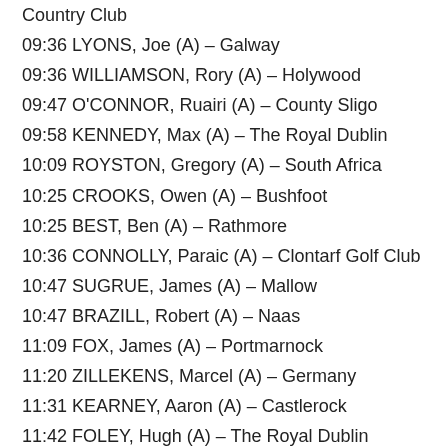Country Club
09:36 LYONS, Joe (A) – Galway
09:36 WILLIAMSON, Rory (A) – Holywood
09:47 O'CONNOR, Ruairi (A) – County Sligo
09:58 KENNEDY, Max (A) – The Royal Dublin
10:09 ROYSTON, Gregory (A) – South Africa
10:25 CROOKS, Owen (A) – Bushfoot
10:25 BEST, Ben (A) – Rathmore
10:36 CONNOLLY, Paraic (A) – Clontarf Golf Club
10:47 SUGRUE, James (A) – Mallow
10:47 BRAZILL, Robert (A) – Naas
11:09 FOX, James (A) – Portmarnock
11:20 ZILLEKENS, Marcel (A) – Germany
11:31 KEARNEY, Aaron (A) – Castlerock
11:42 FOLEY, Hugh (A) – The Royal Dublin
11:42 BRADY, David (A) – County Sligo